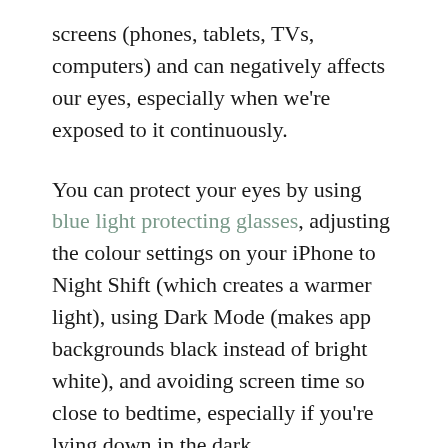screens (phones, tablets, TVs, computers) and can negatively affects our eyes, especially when we're exposed to it continuously.
You can protect your eyes by using blue light protecting glasses, adjusting the colour settings on your iPhone to Night Shift (which creates a warmer light), using Dark Mode (makes app backgrounds black instead of bright white), and avoiding screen time so close to bedtime, especially if you're lying down in the dark.
I hope these digital self-care tips will make a difference for you in your life. Let me know in the comments which of these you already practice, or if you have any other tips. Also, if you use Android or other non-Apple devices, leave your tips below for any handy settings they